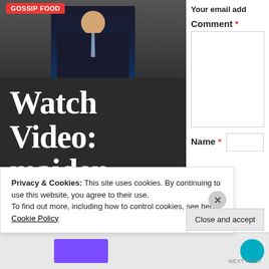[Figure (photo): Photo of a man in a dark suit with a grey tie and pocket square, against a light background. A red 'Gossip Food' badge appears in the top left corner of the photo.]
Watch Video: maiden edition of IWFT with
Your email add
Comment *
Name *
Privacy & Cookies: This site uses cookies. By continuing to use this website, you agree to their use.
To find out more, including how to control cookies, see here: Cookie Policy
Close and accept